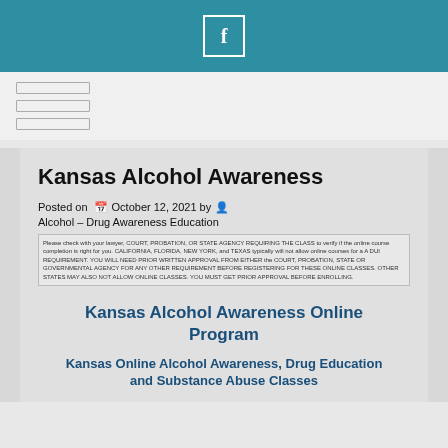[Figure (logo): Facebook icon - white letter f in a square border on teal background]
[Figure (infographic): Navigation menu with three horizontal rectangle bar placeholders]
Kansas Alcohol Awareness
Posted on October 12, 2021 by Alcohol - Drug Awareness Education
Please check with your lawyer, COURT, PROBATION, OR STATE AGENCY REQUIRING THE CLASS to verify if the online course completion is right for you. CALIFORNIA, FLORIDA, NEW YORK, and TEXAS typically will not allow online courses for a A DUI REQUIREMENT. YOU WILL NEED PRIOR WRITTEN APPROVAL FROM EITHER the COURT, PROBATION, STATE OR GOVERNMENTAL AGENCY FOR ANY OTHER REQUIREMENT BEFORE REGISTERING FOR THESE ONLINE CLASSES. OTHER STATES MAY ALSO NOT ALLOW ONLINE CLASSES. YOU MUST GET PRIOR APPROVAL BEFORE ENROLLING.
Kansas Alcohol Awareness Online Program
Kansas Online Alcohol Awareness, Drug Education and Substance Abuse Classes